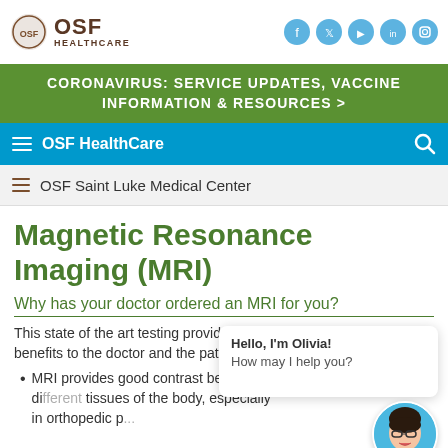OSF HealthCare
CORONAVIRUS: SERVICE UPDATES, VACCINE INFORMATION & RESOURCES >
OSF HealthCare
OSF Saint Luke Medical Center
Magnetic Resonance Imaging (MRI)
Why has your doctor ordered an MRI for you?
This state of the art testing provides many benefits to the doctor and the patient.
MRI provides good contrast between the different tissues of the body, especially in orthopedic p...